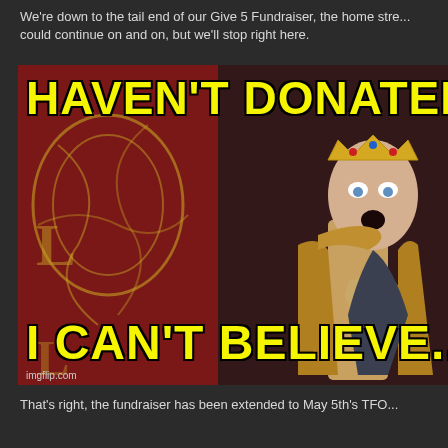We're down to the tail end of our Give 5 Fundraiser, the home stre... could continue on and on, but we'll stop right here.
[Figure (photo): A meme featuring a character resembling King Joffrey from Game of Thrones wearing a golden crown and ornate golden armor, with a shocked expression and hand on chest. Red and gold tapestry/sigil in background. Yellow Impact-font text at top reads 'HAVEN'T DONATED TO G' (cut off) and bottom text reads 'I CAN'T BELIEVE' (cut off). imgflip.com watermark in bottom left.]
That's right, the fundraiser has been extended to May 5th's TFO...